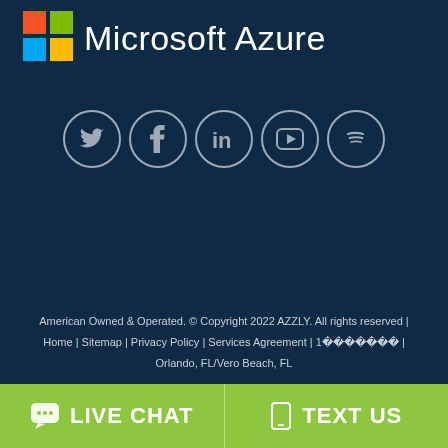[Figure (logo): Microsoft Azure logo: Windows logo (4 colored squares) and text 'Microsoft Azure' in white on dark blue background]
[Figure (infographic): Row of 5 social media icons in circles: Twitter (bird), Facebook (f), LinkedIn (in), YouTube (play button), Spotify (music bars)]
American Owned & Operated. © Copyright 2022 AZZLY. All rights reserved | Home | Sitemap | Privacy Policy | Services Agreement | 1... | Orlando, FL/Vero Beach, FL
LIVE CHAT
TEXT US